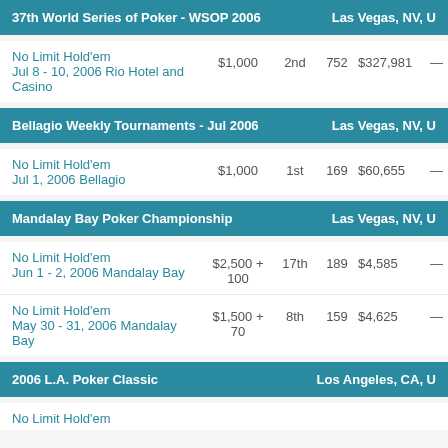37th World Series of Poker - WSOP 2006 | Las Vegas, NV, U
No Limit Hold'em
Jul 8 - 10, 2006 Rio Hotel and Casino
$1,000 | 2nd | 752 | $327,981 | —
Bellagio Weekly Tournaments - Jul 2006 | Las Vegas, NV, U
No Limit Hold'em
Jul 1, 2006 Bellagio
$1,000 | 1st | 169 | $60,655 | —
Mandalay Bay Poker Championship | Las Vegas, NV, U
No Limit Hold'em
Jun 1 - 2, 2006 Mandalay Bay
$2,500 + 100 | 17th | 189 | $4,585 | —
No Limit Hold'em
May 30 - 31, 2006 Mandalay Bay
$1,500 + 70 | 8th | 159 | $4,625 | —
2006 L.A. Poker Classic | Los Angeles, CA, U
No Limit Hold'em